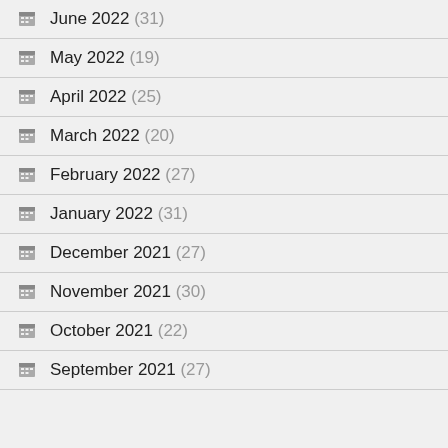June 2022 (31)
May 2022 (19)
April 2022 (25)
March 2022 (20)
February 2022 (27)
January 2022 (31)
December 2021 (27)
November 2021 (30)
October 2021 (22)
September 2021 (27)